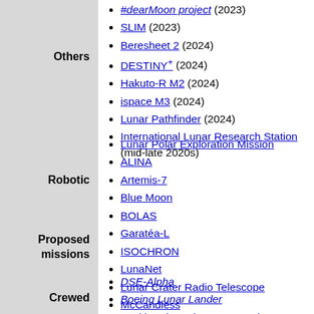Chandrayaan-3 (2023)
#dearMoon project (2023)
SLIM (2023)
Beresheet 2 (2024)
DESTINY+ (2024)
Hakuto-R M2 (2024)
ispace M3 (2024)
Lunar Pathfinder (2024)
International Lunar Research Station (mid-late 2020s)
Others
Lunar Polar Exploration Mission
ALINA
Artemis-7
Blue Moon
BOLAS
Garatéa-L
ISOCHRON
LunaNet
Lunar Crater Radio Telescope
McCandless
Moon Diver
Robotic
Proposed missions
DSE-Alpha
Boeing Lunar Lander
Lockheed Martin Lunar Lander
Crewed